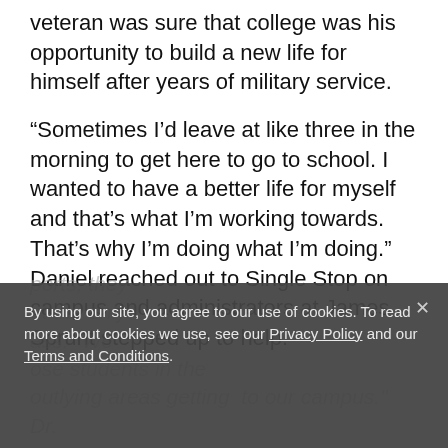veteran was sure that college was his opportunity to build a new life for himself after years of military service.
“Sometimes I’d leave at like three in the morning to get here to go to school. I wanted to have a better life for myself and that’s what I’m working towards. That’s why I’m doing what I’m doing.” Daniel reached out to Single Stop on campus and administrators at James Sprunt stepped up to help.
By using our site, you agree to our use of cookies. To read more about cookies we use, see our Privacy Policy and our Terms and Conditions.